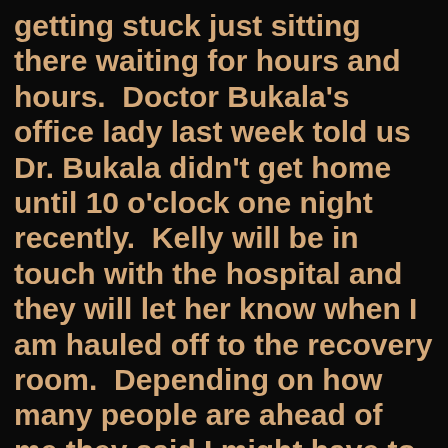getting stuck just sitting there waiting for hours and hours.  Doctor Bukala's office lady last week told us Dr. Bukala didn't get home until 10 o'clock one night recently.  Kelly will be in touch with the hospital and they will let her know when I am hauled off to the recovery room.  Depending on how many people are ahead of me they said I might have to be kept overnight.  Oh horrors, I can't go that long without seeing the Pheebs.  Now I'm not going to go into detail of what takes place with this particular laser kidney stone